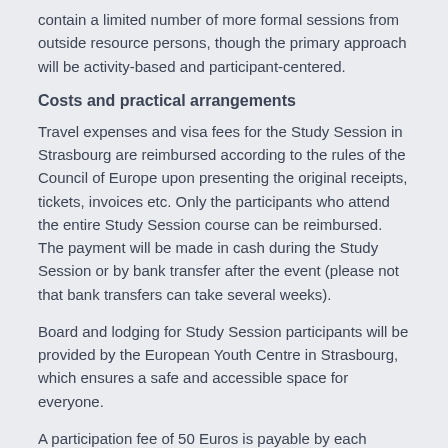contain a limited number of more formal sessions from outside resource persons, though the primary approach will be activity-based and participant-centered.
Costs and practical arrangements
Travel expenses and visa fees for the Study Session in Strasbourg are reimbursed according to the rules of the Council of Europe upon presenting the original receipts, tickets, invoices etc. Only the participants who attend the entire Study Session course can be reimbursed. The payment will be made in cash during the Study Session or by bank transfer after the event (please not that bank transfers can take several weeks).
Board and lodging for Study Session participants will be provided by the European Youth Centre in Strasbourg, which ensures a safe and accessible space for everyone.
A participation fee of 50 Euros is payable by each participant. This amount will be deducted from the amount to be reimbursed for travel expenses or paid at the EYCS during the Study Session.
Participant selection process